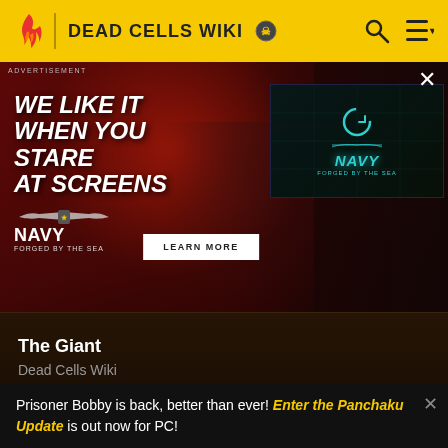DEAD CELLS WIKI
[Figure (screenshot): Advertisement for America's Navy 'Forged by the Sea' campaign showing a woman with glasses in red lighting with text 'WE LIKE IT WHEN YOU STARE AT SCREENS' and a video thumbnail of the Navy logo]
ADVERTISEMENT
The Giant
Dead Cells Wiki
[Figure (screenshot): Colorful game artwork with purple and dark tones showing game characters]
Prisoner Bobby is back, better than ever! Enter the Panchaku Update is out now for PC!